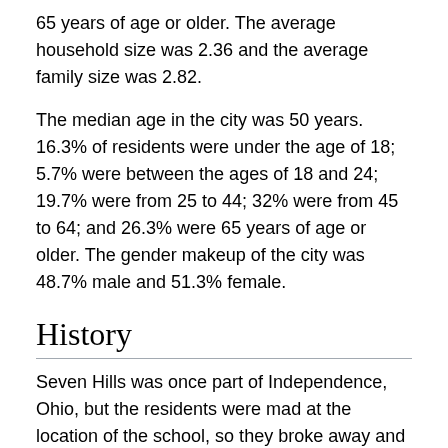65 years of age or older. The average household size was 2.36 and the average family size was 2.82.
The median age in the city was 50 years. 16.3% of residents were under the age of 18; 5.7% were between the ages of 18 and 24; 19.7% were from 25 to 44; 32% were from 45 to 64; and 26.3% were 65 years of age or older. The gender makeup of the city was 48.7% male and 51.3% female.
History
Seven Hills was once part of Independence, Ohio, but the residents were mad at the location of the school, so they broke away and started their own village. Valley View later did the same. The starters of the community decided to name their village after the Seven Hills in the area.